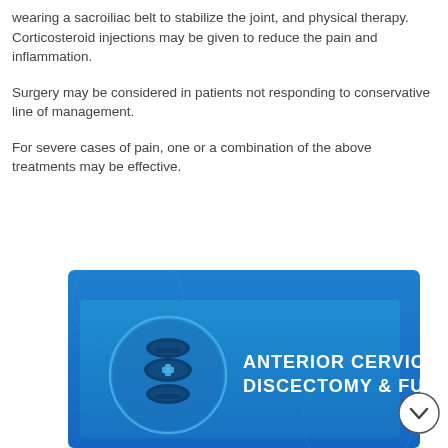wearing a sacroiliac belt to stabilize the joint, and physical therapy. Corticosteroid injections may be given to reduce the pain and inflammation.
Surgery may be considered in patients not responding to conservative line of management.
For severe cases of pain, one or a combination of the above treatments may be effective.
[Figure (illustration): Blue banner illustration for Anterior Cervical Discectomy & Fusion with a spine icon in a circle on the left and bold white text on the right. A chevron/down arrow button appears in the bottom-right corner.]